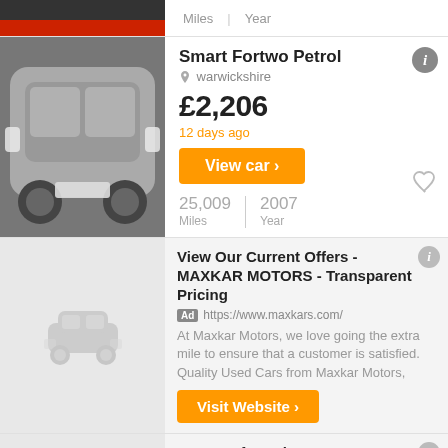[Figure (photo): Top strip showing Miles | Year header with partial car image on left]
[Figure (photo): Silver Smart Fortwo Petrol car photo]
Smart Fortwo Petrol
warwickshire
£2,206
12 days ago
View car ›
25,009 Miles | 2007 Year
View Our Current Offers - MAXKAR MOTORS - Transparent Pricing
Ad https://www.maxkars.com/
At Maxkar Motors, we love going the extra mile to ensure that a customer is satisfied. Quality Used Cars from Maxkar Motors,
Visit Website ›
Peugeot for Sale - Cars.com - Cheap Cars In Your Area
Ad http://www.cars.com/
Cars, Trucks, and SUVs. New & Used